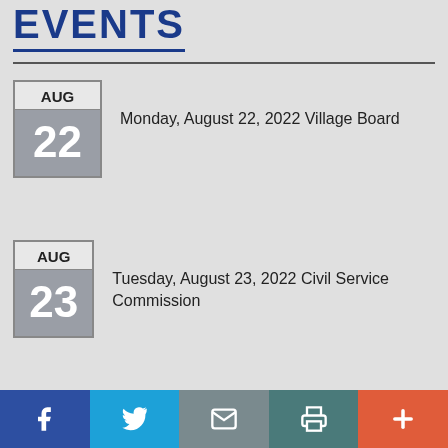EVENTS
Monday, August 22, 2022 Village Board
Tuesday, August 23, 2022 Civil Service Commission